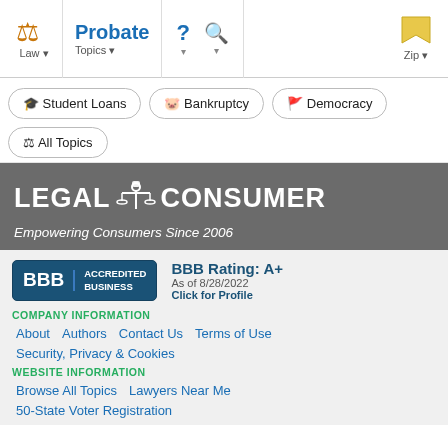Law | Probate Topics | ? | Search | Zip
Student Loans
Bankruptcy
Democracy
All Topics
[Figure (logo): LegalConsumer logo with scales of justice icon, white text on dark gray background]
Empowering Consumers Since 2006
[Figure (logo): BBB Accredited Business badge, dark blue, with BBB Rating: A+, As of 8/28/2022, Click for Profile]
COMPANY INFORMATION
About
Authors
Contact Us
Terms of Use
Security, Privacy & Cookies
WEBSITE INFORMATION
Browse All Topics
Lawyers Near Me
50-State Voter Registration